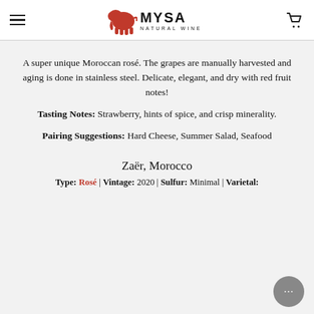MYSA NATURAL WINE
A super unique Moroccan rosé. The grapes are manually harvested and aging is done in stainless steel. Delicate, elegant, and dry with red fruit notes!
Tasting Notes: Strawberry, hints of spice, and crisp minerality.
Pairing Suggestions: Hard Cheese, Summer Salad, Seafood
Zaër, Morocco
Type: Rosé | Vintage: 2020 | Sulfur: Minimal | Varietal: